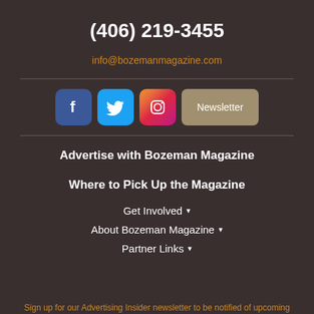(406) 219-3455
info@bozemanmagazine.com
[Figure (infographic): Social media icons row: Facebook (blue rounded square with 'f'), Twitter (light blue rounded square with bird), Instagram (gradient rounded square with camera), and a tan 'Newsletter' button]
Advertise with Bozeman Magazine
Where to Pick Up the Magazine
Get Involved ▾
About Bozeman Magazine ▾
Partner Links ▾
Sign up for our Advertising Insider newsletter to be notified of upcoming